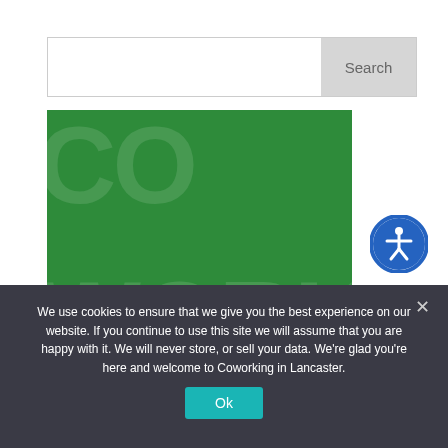[Figure (screenshot): Search bar with text input field and Search button]
[Figure (illustration): Green banner with large bold text 'SCHEDULE A TOUR' and semi-transparent background text 'CO' and 'WORK']
[Figure (logo): Blue circle accessibility icon with stylized person figure]
We use cookies to ensure that we give you the best experience on our website. If you continue to use this site we will assume that you are happy with it. We will never store, or sell your data. We're glad you're here and welcome to Coworking in Lancaster.
Ok